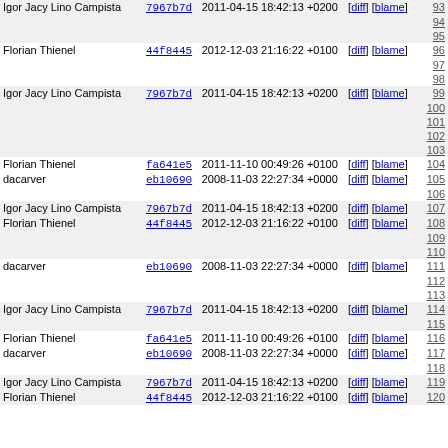| Author | Hash | Date | Links | Line |
| --- | --- | --- | --- | --- |
| Igor Jacy Lino Campista | 7967b7d | 2011-04-15 18:42:13 +0200 | [diff] [blame] | 93 |
|  |  |  |  | 94 |
|  |  |  |  | 95 |
| Florian Thienel | 44f8445 | 2012-12-03 21:16:22 +0100 | [diff] [blame] | 96 |
|  |  |  |  | 97 |
|  |  |  |  | 98 |
| Igor Jacy Lino Campista | 7967b7d | 2011-04-15 18:42:13 +0200 | [diff] [blame] | 99 |
|  |  |  |  | 100 |
|  |  |  |  | 101 |
|  |  |  |  | 102 |
|  |  |  |  | 103 |
| Florian Thienel | fa641e5 | 2011-11-10 00:49:26 +0100 | [diff] [blame] | 104 |
| dacarver | eb10690 | 2008-11-03 22:27:34 +0000 | [diff] [blame] | 105 |
|  |  |  |  | 106 |
| Igor Jacy Lino Campista | 7967b7d | 2011-04-15 18:42:13 +0200 | [diff] [blame] | 107 |
| Florian Thienel | 44f8445 | 2012-12-03 21:16:22 +0100 | [diff] [blame] | 108 |
|  |  |  |  | 109 |
|  |  |  |  | 110 |
| dacarver | eb10690 | 2008-11-03 22:27:34 +0000 | [diff] [blame] | 111 |
|  |  |  |  | 112 |
|  |  |  |  | 113 |
| Igor Jacy Lino Campista | 7967b7d | 2011-04-15 18:42:13 +0200 | [diff] [blame] | 114 |
|  |  |  |  | 115 |
| Florian Thienel | fa641e5 | 2011-11-10 00:49:26 +0100 | [diff] [blame] | 116 |
| dacarver | eb10690 | 2008-11-03 22:27:34 +0000 | [diff] [blame] | 117 |
|  |  |  |  | 118 |
| Igor Jacy Lino Campista | 7967b7d | 2011-04-15 18:42:13 +0200 | [diff] [blame] | 119 |
| Florian Thienel | 44f8445 | 2012-12-03 21:16:22 +0100 | [diff] [blame] | 120 |